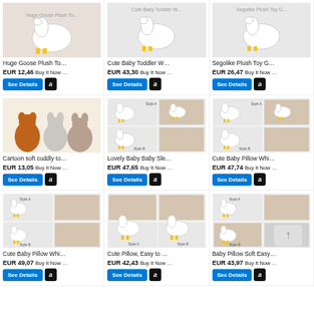[Figure (screenshot): Product grid of plush toys and baby pillows from an e-commerce site. Row 1: Huge Goose Plush To... EUR 12,46; Cute Baby Toddler W... EUR 43,30; Segolike Plush Toy G... EUR 26,47. Row 2: Cartoon soft cuddly to... EUR 13,05; Lovely Baby Baby Sle... EUR 47,65; Cute Baby Pillow Whi... EUR 47,74. Row 3: Cute Baby Pillow Whi... EUR 49,07; Cute Pillow, Easy to ... EUR 42,43; Baby Pillow Soft Easy... EUR 43,97. Each item has a See Details button and Amazon logo button.]